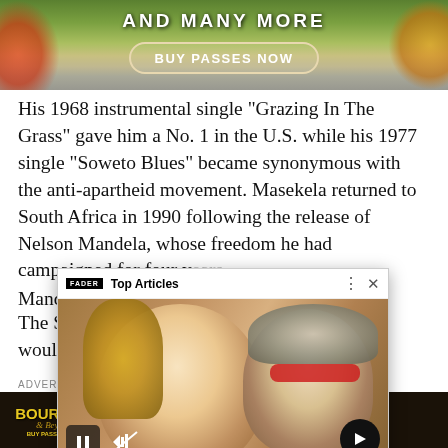[Figure (illustration): Top banner advertisement with floral/nature background showing 'AND MANY MORE' text and 'BUY PASSES NOW' button]
His 1968 instrumental single "Grazing In The Grass" gave him a No. 1 in the U.S. while his 1977 single "Soweto Blues" became synonymous with the anti-apartheid movement. Masekela returned to South Africa in 1990 following the release of Nelson Mandela, whose freedom he had campaigned for four y... Mandela."
The South African pre... would mourn a man w...
[Figure (screenshot): Popup overlay showing 'Top Articles' from FADER with photo of Britney Spears and Elton John, with caption 'Britney Spears and Elton John join forceson "Hold Me Closer"']
ADVERTISEMENT
[Figure (illustration): Bourbon & Beyond festival advertisement: LOUISVILLE, KY - THE WORLD'S BIGGEST BOURBON & MUSIC FESTIVAL featuring PEARL JAM · CHRIS STPALETON, KINGS OF LEON · JACK WHITE, SEPTEMBER 15-19, AND MANY MORE!]